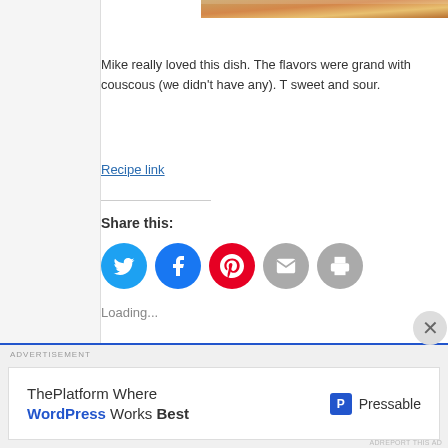[Figure (photo): Partial food photo showing a dish, cropped at top]
Mike really loved this dish. The flavors were grand with couscous (we didn't have any). T sweet and sour.
Recipe link
Share this:
[Figure (infographic): Share buttons: Twitter (blue), Facebook (blue), Pinterest (red), Email (gray), Print (gray)]
Loading...
Filed under: Main Dish, RECIPES | Tagged: coo RECIPES, tomatoes | Leave a comment »
Eggplant Parmesan: Parmigi
[Figure (infographic): Advertisement banner: ThePlatform Where WordPress Works Best | Pressable logo]